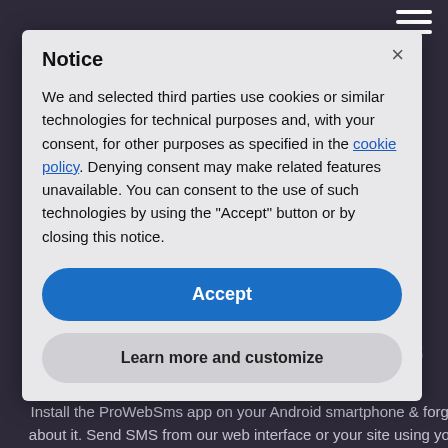[Figure (screenshot): Website background showing ProWebSms branding text and dark purple background with SMS marketing content]
Notice
We and selected third parties use cookies or similar technologies for technical purposes and, with your consent, for other purposes as specified in the cookie policy. Denying consent may make related features unavailable. You can consent to the use of such technologies by using the “Accept” button or by closing this notice.
Accept
Learn more and customize